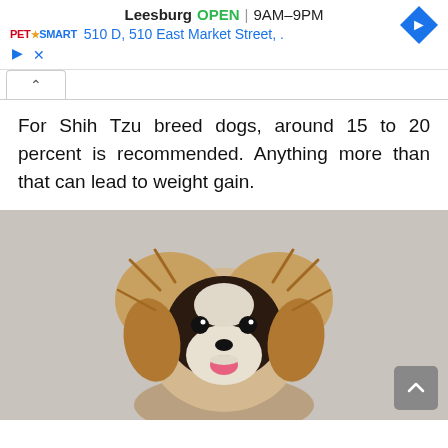[Figure (screenshot): PetSmart ad banner showing Leesburg store OPEN 9AM-9PM, address 510 D, 510 East Market Street, with navigation diamond icon, play and close controls]
For Shih Tzu breed dogs, around 15 to 20 percent is recommended. Anything more than that can lead to weight gain.
[Figure (photo): A Shih Tzu dog facing the camera with fluffy black and tan fur, white muzzle, and pink tongue out, on a grey background]